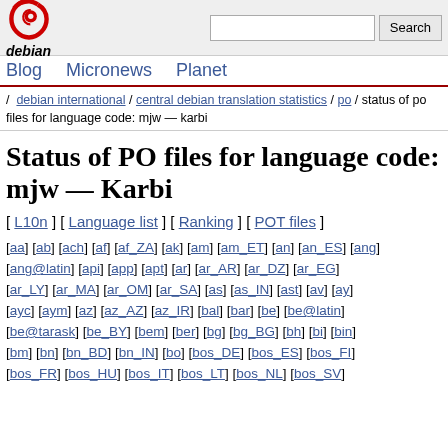debian [logo] [search box] Search | Blog Micronews Planet
/ debian international / central debian translation statistics / po / status of po files for language code: mjw — karbi
Status of PO files for language code: mjw — Karbi
[ L10n ] [ Language list ] [ Ranking ] [ POT files ]
[aa] [ab] [ach] [af] [af_ZA] [ak] [am] [am_ET] [an] [an_ES] [ang] [ang@latin] [api] [app] [apt] [ar] [ar_AR] [ar_DZ] [ar_EG] [ar_LY] [ar_MA] [ar_OM] [ar_SA] [as] [as_IN] [ast] [av] [ay] [ayc] [aym] [az] [az_AZ] [az_IR] [bal] [bar] [be] [be@latin] [be@tarask] [be_BY] [bem] [ber] [bg] [bg_BG] [bh] [bi] [bin] [bm] [bn] [bn_BD] [bn_IN] [bo] [bos_DE] [bos_ES] [bos_FI] [bos_FR] [bos_HU] [bos_IT] [bos_LT] [bos_NL] [bos_SV]